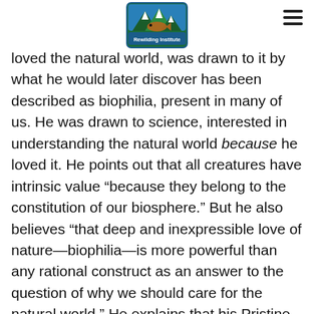[Figure (logo): Rewilding Institute logo — triangular mountain/fish graphic with text 'Rewilding Institute' on a green and blue badge]
loved the natural world, was drawn to it by what he would later discover has been described as biophilia, present in many of us. He was drawn to science, interested in understanding the natural world because he loved it. He points out that all creatures have intrinsic value “because they belong to the constitution of our biosphere.” But he also believes “that deep and inexpressible love of nature—biophilia—is more powerful than any rational construct as an answer to the question of why we should care for the natural world.” He explains that his Pristine Seas project builds on this, showing leaders the wonder of the seas and evoking their